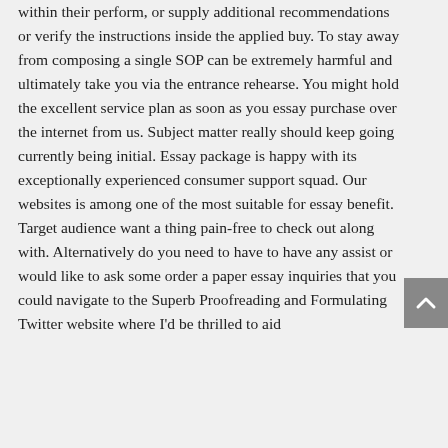within their perform, or supply additional recommendations or verify the instructions inside the applied buy. To stay away from composing a single SOP can be extremely harmful and ultimately take you via the entrance rehearse. You might hold the excellent service plan as soon as you essay purchase over the internet from us. Subject matter really should keep going currently being initial. Essay package is happy with its exceptionally experienced consumer support squad. Our websites is among one of the most suitable for essay benefit. Target audience want a thing pain-free to check out along with. Alternatively do you need to have to have any assist or would like to ask some order a paper essay inquiries that you could navigate to the Superb Proofreading and Formulating Twitter website where I'd be thrilled to aid